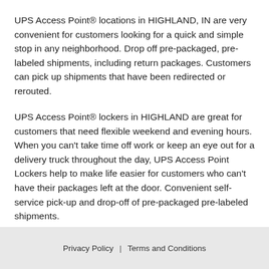UPS Access Point® locations in HIGHLAND, IN are very convenient for customers looking for a quick and simple stop in any neighborhood. Drop off pre-packaged, pre-labeled shipments, including return packages. Customers can pick up shipments that have been redirected or rerouted.
UPS Access Point® lockers in HIGHLAND are great for customers that need flexible weekend and evening hours. When you can't take time off work or keep an eye out for a delivery truck throughout the day, UPS Access Point Lockers help to make life easier for customers who can't have their packages left at the door. Convenient self-service pick-up and drop-off of pre-packaged pre-labeled shipments.
Privacy Policy | Terms and Conditions